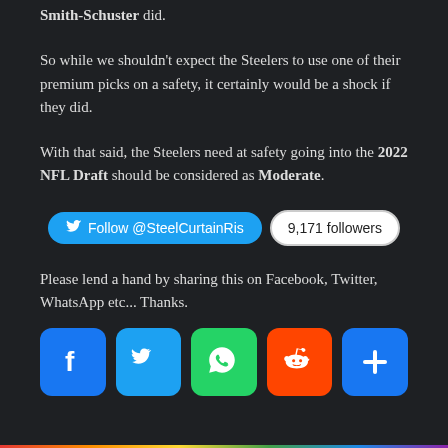Smith-Schuster did.
So while we shouldn't expect the Steelers to use one of their premium picks on a safety, it certainly would be a shock if they did.
With that said, the Steelers need at safety going into the 2022 NFL Draft should be considered as Moderate.
[Figure (other): Twitter follow button for @SteelCurtainRis with 9,171 followers badge]
Please lend a hand by sharing this on Facebook, Twitter, WhatsApp etc... Thanks.
[Figure (other): Social sharing icons: Facebook, Twitter, WhatsApp, Reddit, and a plus/more button]